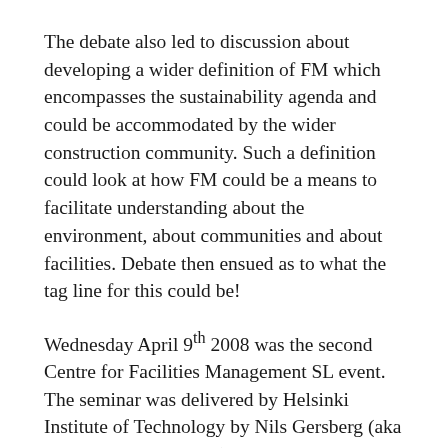The debate also led to discussion about developing a wider definition of FM which encompasses the sustainability agenda and could be accommodated by the wider construction community. Such a definition could look at how FM could be a means to facilitate understanding about the environment, about communities and about facilities. Debate then ensued as to what the tag line for this could be!
Wednesday April 9th 2008 was the second Centre for Facilities Management SL event. The seminar was delivered by Helsinki Institute of Technology by Nils Gersberg (aka Nils Lowenstark in SL) and looked at Pro-work research.
Pro-work is a relatively new research concept and focuses on how organisations and teams in organisations work together, and how they develop knowledge. The debate considered how different types...